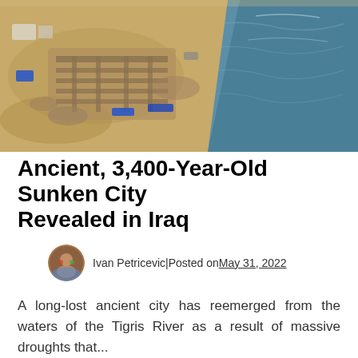[Figure (photo): Aerial drone photo of an ancient archaeological excavation site on a dry riverbank, showing ruins and stone foundations exposed along the shore of a blue-green river or reservoir. Blue tarps are visible at the excavation site. Sandy terrain on the left, water on the right.]
Ancient, 3,400-Year-Old Sunken City Revealed in Iraq
Ivan Petricevic | Posted on May 31, 2022
A long-lost ancient city has reemerged from the waters of the Tigris River as a result of massive droughts that...